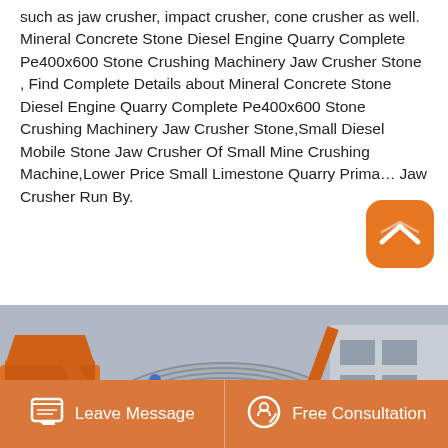such as jaw crusher, impact crusher, cone crusher as well.
Mineral Concrete Stone Diesel Engine Quarry Complete Pe400x600 Stone Crushing Machinery Jaw Crusher Stone , Find Complete Details about Mineral Concrete Stone Diesel Engine Quarry Complete Pe400x600 Stone Crushing Machinery Jaw Crusher Stone,Small Diesel Mobile Stone Jaw Crusher Of Small Mine Crushing Machine,Lower Price Small Limestone Quarry Prima… Jaw Crusher Run By.
[Figure (photo): Orange industrial stone crushing machinery with large cylindrical drum/roller, conveyor belt, and jaw crusher components in a factory/yard setting.]
Leave Message
Free Consultation